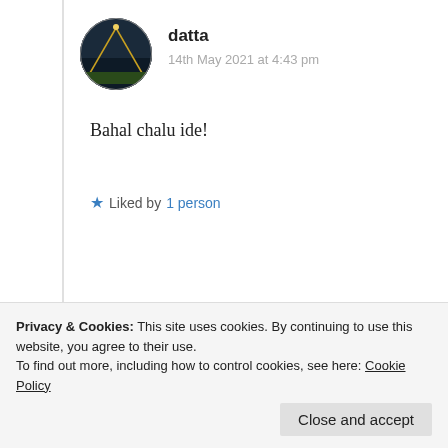[Figure (photo): Circular avatar thumbnail of user 'datta', dark background with scenery]
datta
14th May 2021 at 4:43 pm
Bahal chalu ide!
★ Liked by 1 person
Log in to Reply
[Figure (photo): Circular avatar thumbnail of user 'Suma Reddy']
Suma Reddy
★ Like
Privacy & Cookies: This site uses cookies. By continuing to use this website, you agree to their use.
To find out more, including how to control cookies, see here: Cookie Policy
Close and accept